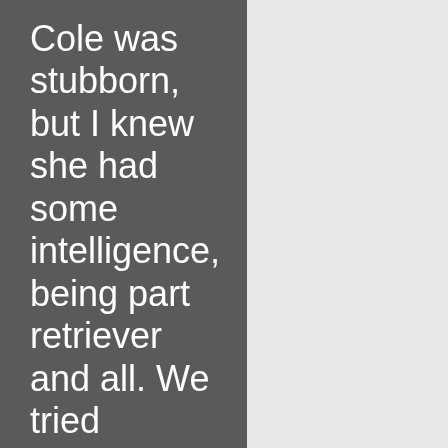Cole was stubborn, but I knew she had some intelligence, being part retriever and all. We tried teaching her a few tricks using cheese as a reward. If you ever try to teach a dog tricks, do